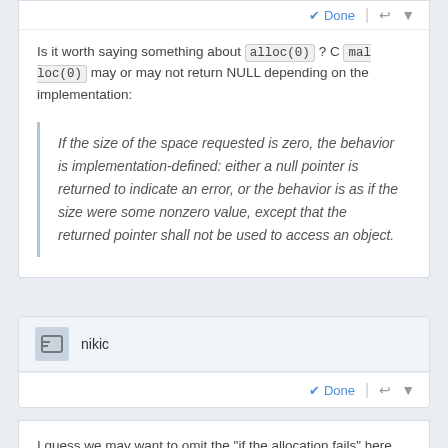Done
Is it worth saying something about alloc(0) ? C malloc(0) may or may not return NULL depending on the implementation:
If the size of the space requested is zero, the behavior is implementation-defined: either a null pointer is returned to indicate an error, or the behavior is as if the size were some nonzero value, except that the returned pointer shall not be used to access an object.
nikic
Done
I guess we may want to omit the "if the allocation fails" here (and just make null a valid value -- unless the return is nonnull of course), but I don't think a more specific guarantee on the behavior of zero-sized allocations is needed for the kind of functionality we want to support.